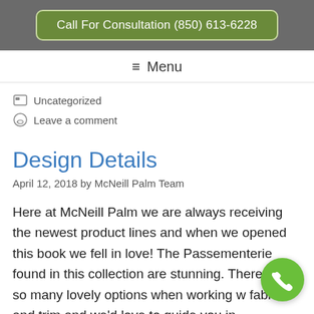Call For Consultation (850) 613-6228
≡ Menu
Uncategorized
Leave a comment
Design Details
April 12, 2018 by McNeill Palm Team
Here at McNeill Palm we are always receiving the newest product lines and when we opened this book we fell in love! The Passementerie found in this collection are stunning. There are so many lovely options when working w fabrics and trim and we'd love to guide you in